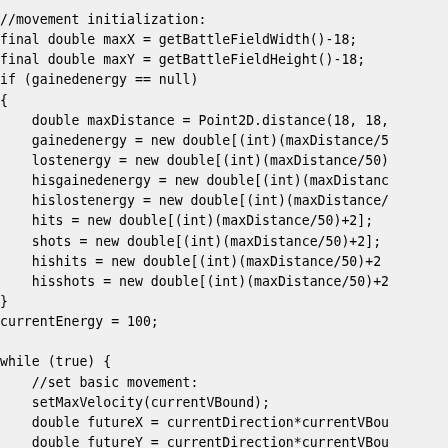//movement initialization:
final double maxX = getBattleFieldWidth()-18;
final double maxY = getBattleFieldHeight()-18;
if (gainedenergy == null)
{
    double maxDistance = Point2D.distance(18, 18,
    gainedenergy = new double[(int)(maxDistance/5
    lostenergy = new double[(int)(maxDistance/50)
    hisgainedenergy = new double[(int)(maxDistanc
    hislostenergy = new double[(int)(maxDistance/
    hits = new double[(int)(maxDistance/50)+2];
    shots = new double[(int)(maxDistance/50)+2];
    hishits = new double[(int)(maxDistance/50)+2
    hisshots = new double[(int)(maxDistance/50)+2
}
currentEnergy = 100;

while (true) {
    //set basic movement:
    setMaxVelocity(currentVBound);
    double futureX = currentDirection*currentVBou
    double futureY = currentDirection*currentVBou
    if (futureX < 18D || futureY < 18D || futureX
        currentDirection = -currentDirection;
    setAhead(currentDirection*40);

    if (!haveEnemy) {
        setTurnRadarLeft(22.5);
    }
    + Enemy[d]